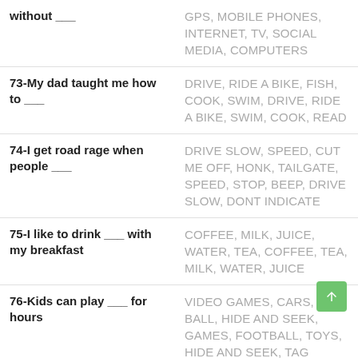| Prompt | Answers |
| --- | --- |
| without ___ | GPS, MOBILE PHONES, INTERNET, TV, SOCIAL MEDIA, COMPUTERS |
| 73-My dad taught me how to ___ | DRIVE, RIDE A BIKE, FISH, COOK, SWIM, DRIVE, RIDE A BIKE, SWIM, COOK, READ |
| 74-I get road rage when people ___ | DRIVE SLOW, SPEED, CUT ME OFF, HONK, TAILGATE, SPEED, STOP, BEEP, DRIVE SLOW, DONT INDICATE |
| 75-I like to drink ___ with my breakfast | COFFEE, MILK, JUICE, WATER, TEA, COFFEE, TEA, MILK, WATER, JUICE |
| 76-Kids can play ___ for hours | VIDEO GAMES, CARS, TAG, BALL, HIDE AND SEEK, GAMES, FOOTBALL, TOYS, HIDE AND SEEK, TAG |
| 77-I can't start my day without | COFFEE, BREAKFAST, SHOWER, WATER, PHONE, COFFEE, TEA |